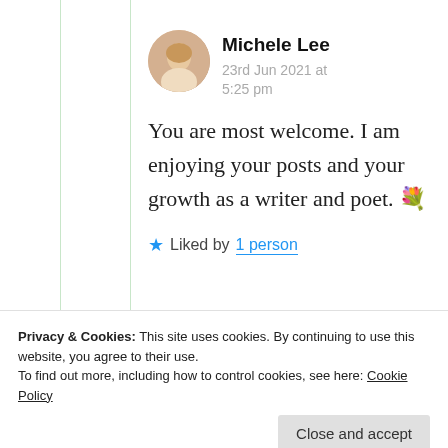Michele Lee
23rd Jun 2021 at 5:25 pm
You are most welcome. I am enjoying your posts and your growth as a writer and poet. 💐
★ Liked by 1 person
Privacy & Cookies: This site uses cookies. By continuing to use this website, you agree to their use.
To find out more, including how to control cookies, see here: Cookie Policy
Close and accept
23rd Jun 2021 at